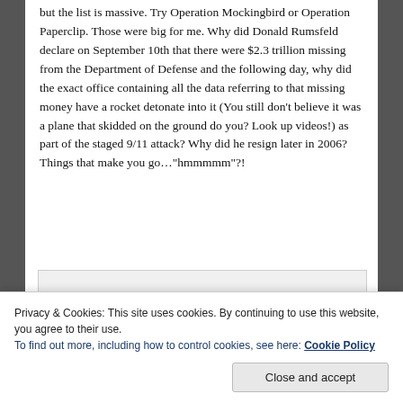but the list is massive. Try Operation Mockingbird or Operation Paperclip. Those were big for me. Why did Donald Rumsfeld declare on September 10th that there were $2.3 trillion missing from the Department of Defense and the following day, why did the exact office containing all the data referring to that missing money have a rocket detonate into it (You still don't believe it was a plane that skidded on the ground do you? Look up videos!) as part of the staged 9/11 attack? Why did he resign later in 2006? Things that make you go…"hmmmmm"?!
[Figure (other): Partially visible embedded image or media placeholder with light gray background]
Privacy & Cookies: This site uses cookies. By continuing to use this website, you agree to their use.
To find out more, including how to control cookies, see here: Cookie Policy